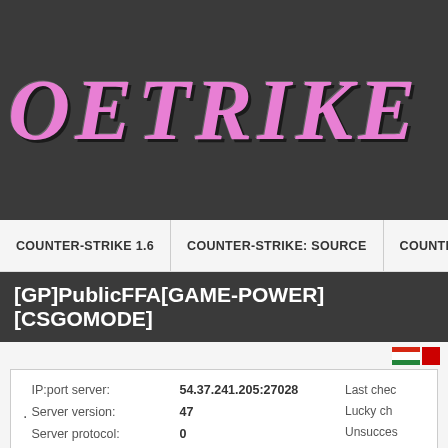OETRIKE TAD
COUNTER-STRIKE 1.6   COUNTER-STRIKE: SOURCE   COUNTER-STRIKE...
[GP]PublicFFA[GAME-POWER][CSGOMODE]
| IP:port server: | 54.37.241.205:27028 |
| --- | --- |
| Server version: | 47 |
| Server protocol: | 0 |
| Players on server: | 31 / 32 |
| Map is now: | de_dust2 |
| Start playing: |  |
| # | Name of player |
| --- | --- |
| 1 | KinK |
| 2 | TeeeNNvn |